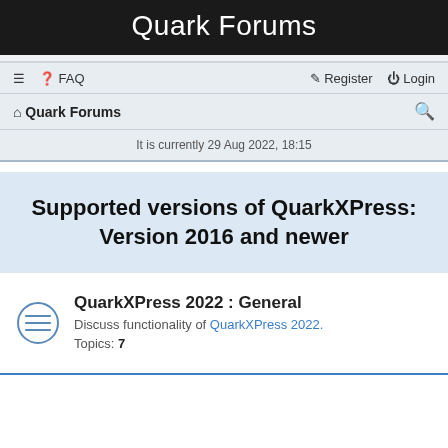Quark Forums
≡  ❓ FAQ    ✎ Register  ⏻ Login
⌂ Quark Forums  🔍
It is currently 29 Aug 2022, 18:15
Supported versions of QuarkXPress: Version 2016 and newer
QuarkXPress 2022 : General
Discuss functionality of QuarkXPress 2022.
Topics: 7